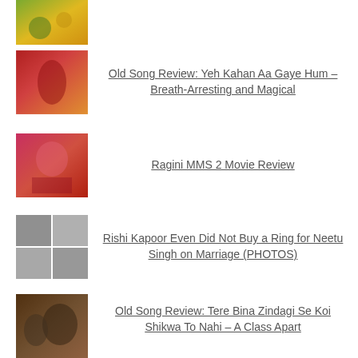[Figure (photo): Thumbnail image - top partial item]
Old Song Review: Yeh Kahan Aa Gaye Hum – Breath-Arresting and Magical
Ragini MMS 2 Movie Review
Rishi Kapoor Even Did Not Buy a Ring for Neetu Singh on Marriage (PHOTOS)
Old Song Review: Tere Bina Zindagi Se Koi Shikwa To Nahi – A Class Apart
Everything About the Upcoming Brahmāstra